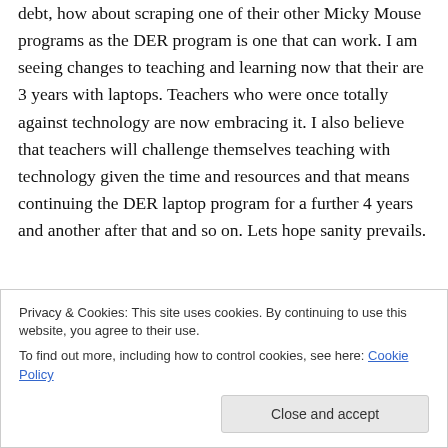debt, how about scraping one of their other Micky Mouse programs as the DER program is one that can work. I am seeing changes to teaching and learning now that their are 3 years with laptops. Teachers who were once totally against technology are now embracing it. I also believe that teachers will challenge themselves teaching with technology given the time and resources and that means continuing the DER laptop program for a further 4 years and another after that and so on. Lets hope sanity prevails.
Privacy & Cookies: This site uses cookies. By continuing to use this website, you agree to their use.
To find out more, including how to control cookies, see here: Cookie Policy